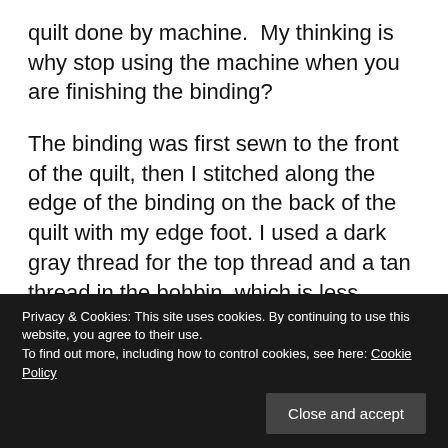quilt done by machine.  My thinking is why stop using the machine when you are finishing the binding?
The binding was first sewn to the front of the quilt, then I stitched along the edge of the binding on the back of the quilt with my edge foot. I used a dark gray thread for the top thread and a tan thread in the bobbin, which is less visible on the top of the quilt.
Privacy & Cookies: This site uses cookies. By continuing to use this website, you agree to their use.
To find out more, including how to control cookies, see here: Cookie Policy
[Figure (photo): Bottom portion of a photo showing a quilt with colorful shapes on a dark background, partially obscured by the cookie consent banner.]